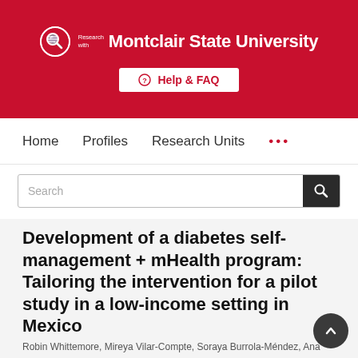[Figure (logo): Research with Montclair State University logo and header banner with Help & FAQ button]
Home   Profiles   Research Units   ...
Search
Development of a diabetes self-management + mHealth program: Tailoring the intervention for a pilot study in a low-income setting in Mexico
Robin Whittemore, Mireya Vilar-Compte, Soraya Burrola-Méndez, Ana...